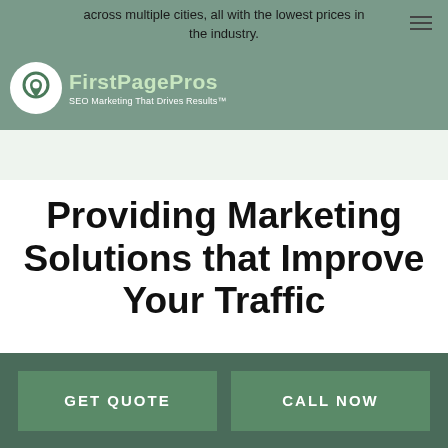across multiple cities, all with the lowest prices in the industry.
[Figure (logo): FirstPagePros logo with pin icon and tagline 'SEO Marketing That Drives Results']
Providing Marketing Solutions that Improve Your Traffic
Start Ranking In Less Than30 Days
GET QUOTE
CALL NOW